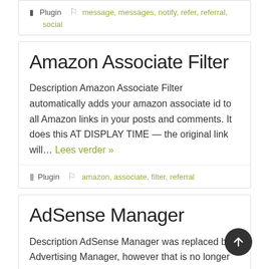Plugin  message, messages, notify, refer, referral, social
Amazon Associate Filter
Description Amazon Associate Filter automatically adds your amazon associate id to all Amazon links in your posts and comments. It does this AT DISPLAY TIME — the original link will... Lees verder »
Plugin  amazon, associate, filter, referral
AdSense Manager
Description AdSense Manager was replaced by Advertising Manager, however that is no longer